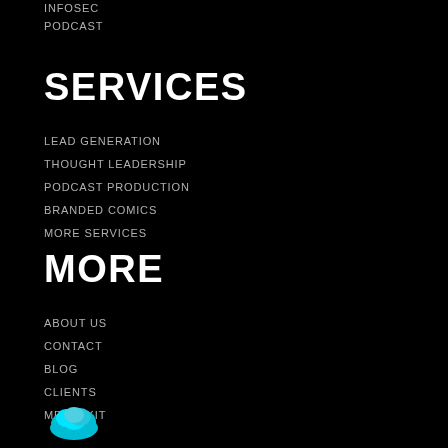INFOSEC
PODCAST
SERVICES
LEAD GENERATION
THOUGHT LEADERSHIP
PODCAST PRODUCTION
BRANDED COMICS
MORE SERVICES
MORE
ABOUT US
CONTACT
BLOG
CLIENTS
MEDIA KIT
[Figure (logo): CloudTech or similar brand logo with cloud icon in cyan/blue color, partially visible at bottom of page]